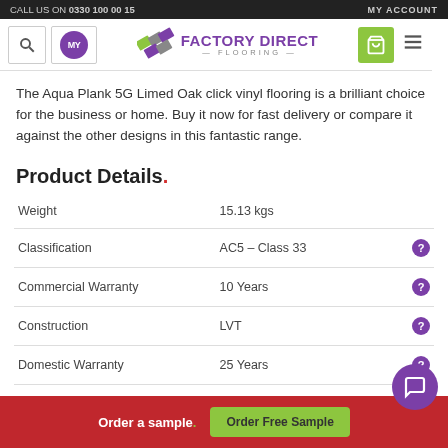CALL US ON 0330 100 00 15 | MY ACCOUNT
[Figure (logo): Factory Direct Flooring logo with search, my account, basket and menu icons]
The Aqua Plank 5G Limed Oak click vinyl flooring is a brilliant choice for the business or home. Buy it now for fast delivery or compare it against the other designs in this fantastic range.
Product Details.
| Property | Value | Info |
| --- | --- | --- |
| Weight | 15.13 kgs |  |
| Classification | AC5 – Class 33 | ? |
| Commercial Warranty | 10 Years | ? |
| Construction | LVT | ? |
| Domestic Warranty | 25 Years | ? |
Order a sample. | Order Free Sample